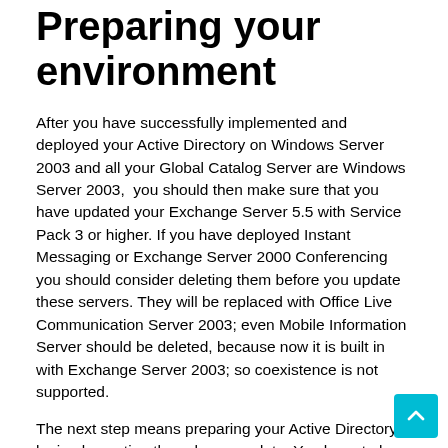Preparing your environment
After you have successfully implemented and deployed your Active Directory on Windows Server 2003 and all your Global Catalog Server are Windows Server 2003, you should then make sure that you have updated your Exchange Server 5.5 with Service Pack 3 or higher. If you have deployed Instant Messaging or Exchange Server 2000 Conferencing you should consider deleting them before you update these servers. They will be replaced with Office Live Communication Server 2003; even Mobile Information Server should be deleted, because now it is built in with Exchange Server 2003; so coexistence is not supported.
The next step means preparing your Active Directory by implementing the schema update. You have to log on to your domain as Enterprise Administrator and then run setup.exe with the forestprep switch having connectivity